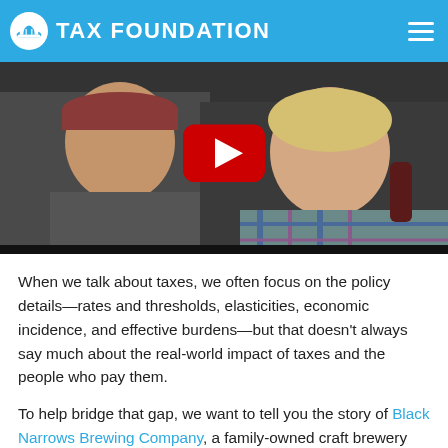TAX FOUNDATION
[Figure (screenshot): Video thumbnail showing a man in a baseball cap and a woman in a plaid shirt, with a YouTube play button overlay in the center.]
When we talk about taxes, we often focus on the policy details—rates and thresholds, elasticities, economic incidence, and effective burdens—but that doesn't always say much about the real-world impact of taxes and the people who pay them.
To help bridge that gap, we want to tell you the story of Black Narrows Brewing Company, a family-owned craft brewery situated at the heart of Chincoteague, a small island town on